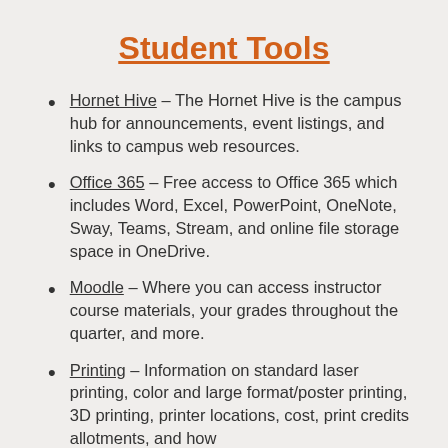Student Tools
Hornet Hive – The Hornet Hive is the campus hub for announcements, event listings, and links to campus web resources.
Office 365 – Free access to Office 365 which includes Word, Excel, PowerPoint, OneNote, Sway, Teams, Stream, and online file storage space in OneDrive.
Moodle – Where you can access instructor course materials, your grades throughout the quarter, and more.
Printing – Information on standard laser printing, color and large format/poster printing, 3D printing, printer locations, cost, print credits allotments, and how